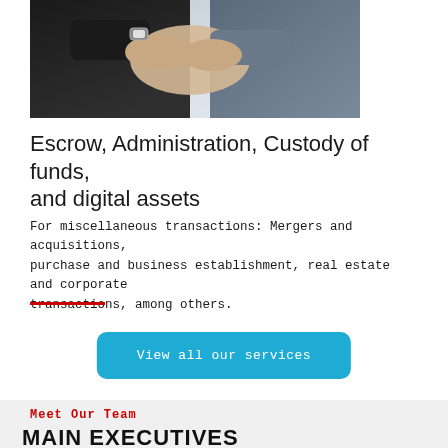[Figure (photo): Two businesspeople shaking hands, one in a dark suit and one in a gray suit, close-up on hands]
Escrow, Administration, Custody of funds, and digital assets
For miscellaneous transactions: Mergers and acquisitions, purchase and business establishment, real estate and corporate transactions, among others.
View all our services
Meet Our Team
MAIN EXECUTIVES